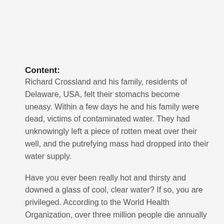Content:
Richard Crossland and his family, residents of Delaware, USA, felt their stomachs become uneasy. Within a few days he and his family were dead, victims of contaminated water. They had unknowingly left a piece of rotten meat over their well, and the putrefying mass had dropped into their water supply.
Have you ever been really hot and thirsty and downed a glass of cool, clear water? If so, you are privileged. According to the World Health Organization, over three million people die annually